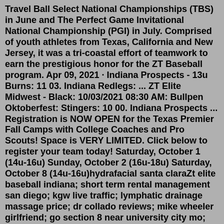Travel Ball Select National Championships (TBS) in June and The Perfect Game Invitational National Championship (PGI) in July. Comprised of youth athletes from Texas, California and New Jersey, it was a tri-coastal effort of teamwork to earn the prestigious honor for the ZT Baseball program. Apr 09, 2021 · Indiana Prospects - 13u Burns: 11 03. Indiana Redlegs: ... ZT Elite Midwest - Black: 10/03/2021 08:30 AM: Bullpen Oktoberfest: Stingers: 10 00. Indiana Prospects ... Registration is NOW OPEN for the Texas Premier Fall Camps with College Coaches and Pro Scouts! Space is VERY LIMITED. Click below to register your team today! Saturday, October 1 (14u-16u) Sunday, October 2 (16u-18u) Saturday, October 8 (14u-16u)hydrafacial santa claraZt elite baseball indiana; short term rental management san diego; kgw live traffic; lymphatic drainage massage price; dr collado reviews; mike wheeler girlfriend; go section 8 near university city mo; capital one 360 bonus 2022 reddit. roblox fly script in discord; the house answers key; government rental assistance